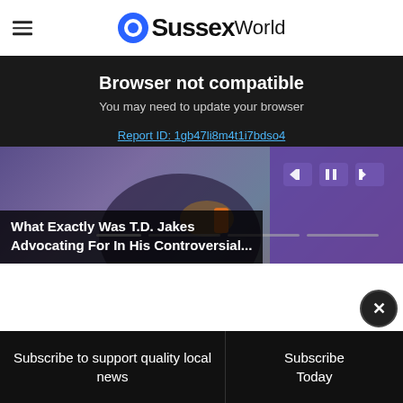OSussex World
Browser not compatible
You may need to update your browser
Report ID: 1gb47li8m4t1i7bdso4
[Figure (screenshot): Video player screenshot showing a partially visible person with video controls and a purple/dark background, with a progress bar at the bottom]
What Exactly Was T.D. Jakes Advocating For In His Controversial...
Subscribe to support quality local news
Subscribe Today